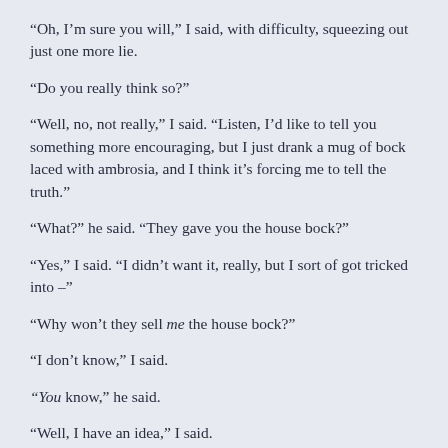“Oh, I’m sure you will,” I said, with difficulty, squeezing out just one more lie.
“Do you really think so?”
“Well, no, not really,” I said. “Listen, I’d like to tell you something more encouraging, but I just drank a mug of bock laced with ambrosia, and I think it’s forcing me to tell the truth.”
“What?” he said. “They gave you the house bock?”
“Yes,” I said. “I didn’t want it, really, but I sort of got tricked into –”
“Why won’t they sell me the house bock?”
“I don’t know,” I said.
“You know,” he said.
“Well, I have an idea,” I said.